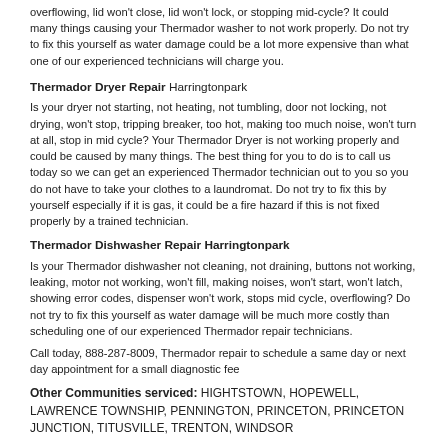overflowing, lid won't close, lid won't lock, or stopping mid-cycle? It could many things causing your Thermador washer to not work properly. Do not try to fix this yourself as water damage could be a lot more expensive than what one of our experienced technicians will charge you.
Thermador Dryer Repair Harringtonpark
Is your dryer not starting, not heating, not tumbling, door not locking, not drying, won't stop, tripping breaker, too hot, making too much noise, won't turn at all, stop in mid cycle? Your Thermador Dryer is not working properly and could be caused by many things. The best thing for you to do is to call us today so we can get an experienced Thermador technician out to you so you do not have to take your clothes to a laundromat. Do not try to fix this by yourself especially if it is gas, it could be a fire hazard if this is not fixed properly by a trained technician.
Thermador Dishwasher Repair Harringtonpark
Is your Thermador dishwasher not cleaning, not draining, buttons not working, leaking, motor not working, won't fill, making noises, won't start, won't latch, showing error codes, dispenser won't work, stops mid cycle, overflowing? Do not try to fix this yourself as water damage will be much more costly than scheduling one of our experienced Thermador repair technicians.
Call today, 888-287-8009, Thermador repair to schedule a same day or next day appointment for a small diagnostic fee
Other Communities serviced: HIGHTSTOWN, HOPEWELL, LAWRENCE TOWNSHIP, PENNINGTON, PRINCETON, PRINCETON JUNCTION, TITUSVILLE, TRENTON, WINDSOR